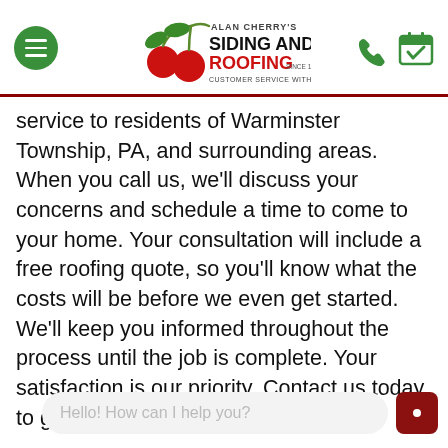[Figure (logo): Alan Cherry's Siding and Roofing logo with cherry graphic and tagline 'Customer Service With A Cherry On Top']
service to residents of Warminster Township, PA, and surrounding areas. When you call us, we'll discuss your concerns and schedule a time to come to your home. Your consultation will include a free roofing quote, so you'll know what the costs will be before we even get started. We'll keep you informed throughout the process until the job is complete. Your satisfaction is our priority. Contact us today to get started.
WHY OUR CLIENTS LOVE US